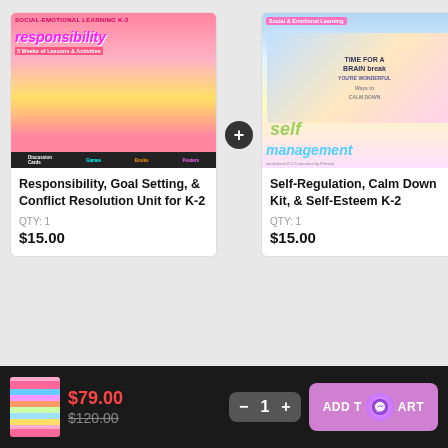[Figure (photo): Product thumbnail for Responsibility, Goal Setting & Conflict Resolution Unit K-2 - colorful educational materials cover showing discussion cards, games, books, posters]
Responsibility, Goal Setting, & Conflict Resolution Unit for K-2
QTY: 1
$15.00
[Figure (photo): Product thumbnail for Self-Regulation, Calm Down Kit & Self-Esteem K-2 - colorful educational materials showing self management curriculum]
Self-Regulation, Calm Down Kit, & Self-Esteem K-2
QTY: 1
$15.00
$79.00
$120.00
1
ADD TO CART